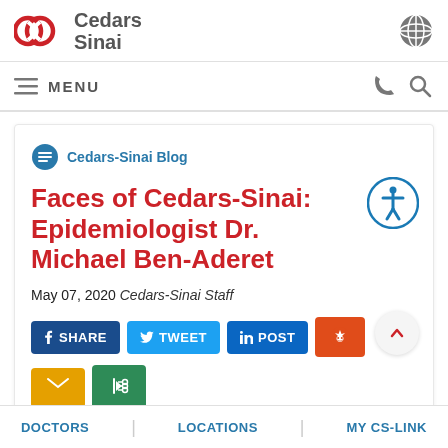Cedars Sinai
MENU
Cedars-Sinai Blog
Faces of Cedars-Sinai: Epidemiologist Dr. Michael Ben-Aderet
May 07, 2020 Cedars-Sinai Staff
f SHARE   TWEET   in POST   (reddit)   (email)   (share)
DOCTORS   LOCATIONS   MY CS-LINK